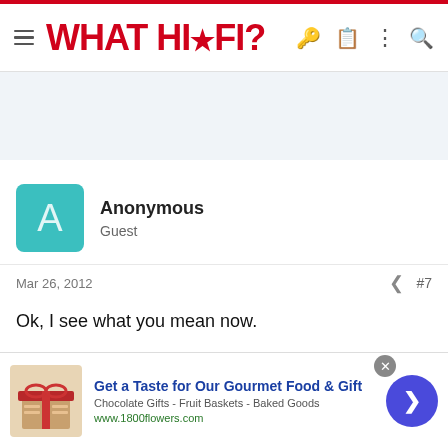WHAT HI·FI?
[Figure (other): Advertisement placeholder banner (light blue-grey background)]
Anonymous
Guest
Mar 26, 2012  #7
Ok, I see what you mean now.

Can you recommend me a set of active monitors then?

And just for my interest can you tell me what you think about the amp and speakers from my first post?
[Figure (other): Advertisement banner: Get a Taste for Our Gourmet Food & Gift - Chocolate Gifts - Fruit Baskets - Baked Goods - www.1800flowers.com]